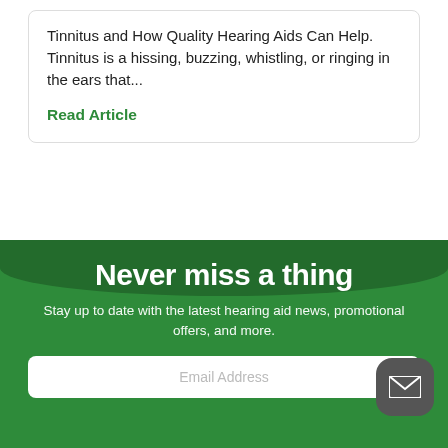Tinnitus and How Quality Hearing Aids Can Help. Tinnitus is a hissing, buzzing, whistling, or ringing in the ears that...
Read Article
Never miss a thing
Stay up to date with the latest hearing aid news, promotional offers, and more.
Email Address